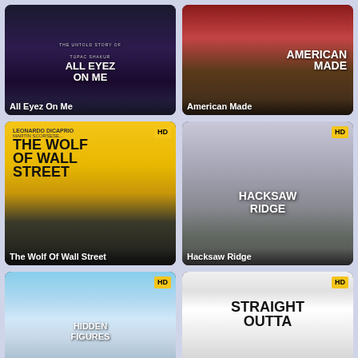[Figure (photo): Movie poster for All Eyez On Me - dark background with cross and white block text]
All Eyez On Me
[Figure (photo): Movie poster for American Made - action scene with red and brown tones, white bold text]
American Made
[Figure (photo): Movie poster for The Wolf Of Wall Street with yellow background and man in suit, HD badge]
The Wolf Of Wall Street
[Figure (photo): Movie poster for Hacksaw Ridge showing soldier carrying another soldier, misty background, HD badge]
Hacksaw Ridge
[Figure (photo): Movie poster for Hidden Figures showing blue sky and arch, HD badge]
[Figure (photo): Movie poster for Straight Outta Compton with black and white text on light background, HD badge]